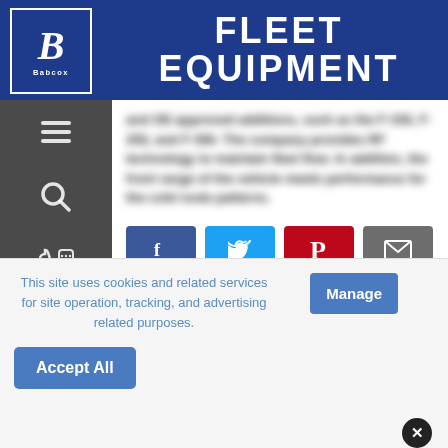FLEET EQUIPMENT
[Figure (screenshot): Babcox media logo in top-left of header, white B on dark blue background]
[blurred article text]
[Figure (infographic): Social share buttons: Facebook, Twitter, Pinterest, Email]
In this article: Electrification, Motiv Power Systems
This site uses cookies and related services for site operation, tracking, and advertising related purposes.
Manage
Accept All